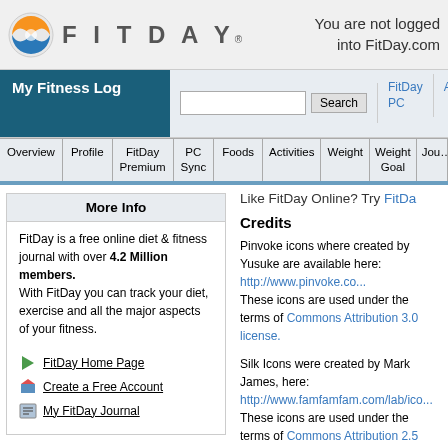You are not logged into FitDay.com
My Fitness Log
Search  FitDay PC  Advertise  Articles  Forums  Log In To FitDay
Overview | Profile | FitDay Premium | PC Sync | Foods | Activities | Weight | Weight Goal | Jour...
Like FitDay Online? Try FitDa...
More Info
FitDay is a free online diet & fitness journal with over 4.2 Million members. With FitDay you can track your diet, exercise and all the major aspects of your fitness.
FitDay Home Page
Create a Free Account
My FitDay Journal
Credits
Pinvoke icons where created by Yusuke are available here: http://www.pinvoke.co... These icons are used under the terms of Commons Attribution 3.0 license.
Silk Icons were created by Mark James, here: http://www.famfamfam.com/lab/ico... These icons are used under the terms of Commons Attribution 2.5 license.